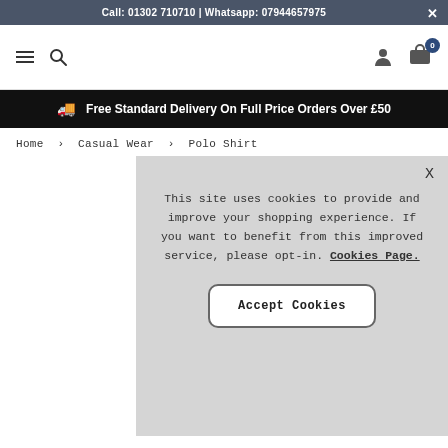Call: 01302 710710 | Whatsapp: 07944657975
[Figure (screenshot): Navigation bar with hamburger menu, search icon, person icon, and cart icon with badge showing 0]
Free Standard Delivery On Full Price Orders Over £50
Home › Casual Wear › Polo Shirt
This site uses cookies to provide and improve your shopping experience. If you want to benefit from this improved service, please opt-in. Cookies Page.
Accept Cookies